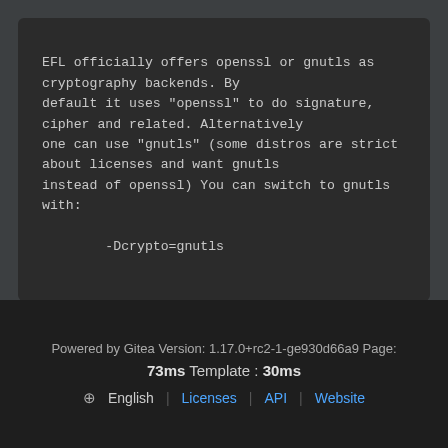EFL officially offers openssl or gnutls as
cryptography backends. By
default it uses "openssl" to do signature,
cipher and related. Alternatively
one can use "gnutls" (some distros are strict
about licenses and want gnutls
instead of openssl) You can switch to gnutls
with:

        -Dcrypto=gnutls
Powered by Gitea Version: 1.17.0+rc2-1-ge930d66a9 Page:
73ms Template : 30ms
⊕ English | Licenses | API | Website